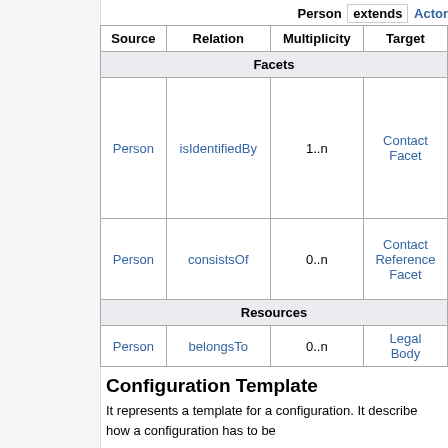Person extends Actor
| Source | Relation | Multiplicity | Target |
| --- | --- | --- | --- |
| Facets |  |  |  |
| Person | isIdentifiedBy | 1..n | Contact Facet |
| Person | consistsOf | 0..n | Contact Reference Facet |
| Resources |  |  |  |
| Person | belongsTo | 0..n | Legal Body |
Configuration Template
It represents a template for a configuration. It describe how a configuration has to be